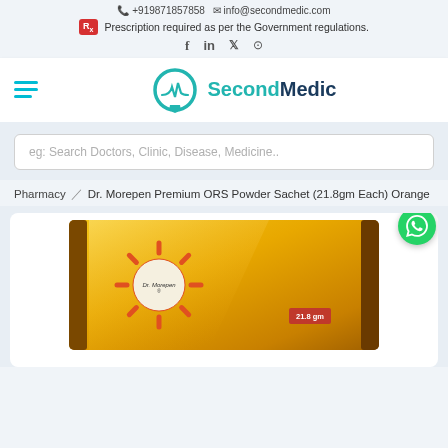+919871857858  info@secondmedic.com
Prescription required as per the Government regulations.
[Figure (logo): Social media icons: Facebook, LinkedIn, Twitter, Instagram]
[Figure (logo): SecondMedic logo with circular heartbeat icon and teal/blue brand name]
eg: Search Doctors, Clinic, Disease, Medicine..
Pharmacy
Dr. Morepen Premium ORS Powder Sachet (21.8gm Each) Orange
[Figure (photo): Dr. Morepen Premium ORS Powder Sachet orange packaging with sun logo and 21.8gm label]